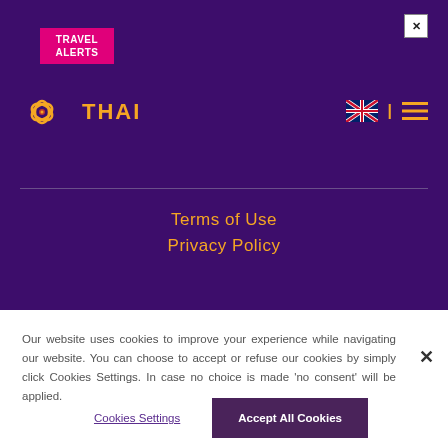[Figure (logo): Travel Alerts badge — pink/magenta rectangle with white bold text 'TRAVEL ALERTS']
[Figure (logo): Thai Airways logo — golden orchid emblem with gold 'THAI' text]
[Figure (infographic): UK flag icon and hamburger menu icon in top right of purple header]
Terms of Use
Privacy Policy
Our website uses cookies to improve your experience while navigating our website. You can choose to accept or refuse our cookies by simply click Cookies Settings. In case no choice is made 'no consent' will be applied.
Cookies Settings
Accept All Cookies